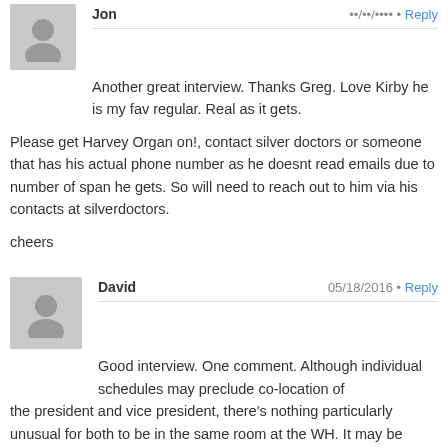Another great interview. Thanks Greg. Love Kirby he is my fav regular. Real as it gets.
Please get Harvey Organ on!, contact silver doctors or someone that has his actual phone number as he doesnt read emails due to number of span he gets. So will need to reach out to him via his contacts at silverdoctors.
cheers
David  05/18/2016 • Reply
Good interview. One comment. Although individual schedules may preclude co-location of the president and vice president, there's nothing particularly unusual for both to be in the same room at the WH. It may be uncommon for the both to meet simultaneously with the Fed Chair, and it's interesting that the April 12 meeting coincided with several emergency Fed meetings.
Is there a connection between Biden's foreign policy cachet and